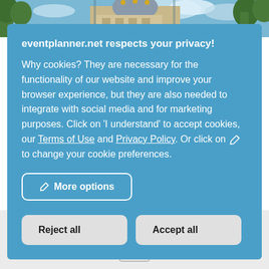[Figure (photo): Top photo strip showing a building with dome, trees, and blue sky]
eventplanner.net respects your privacy!
Why cookies? They are necessary for the functionality of our website and improve your browser experience, but they are also needed to integrate with social media and for marketing purposes. Click on 'I understand' to accept cookies, our Terms of Use and Privacy Policy. Or click on ✏ to change your cookie preferences.
More options
Reject all
Accept all
[Figure (photo): Bottom gray area with heart icon and image placeholder]